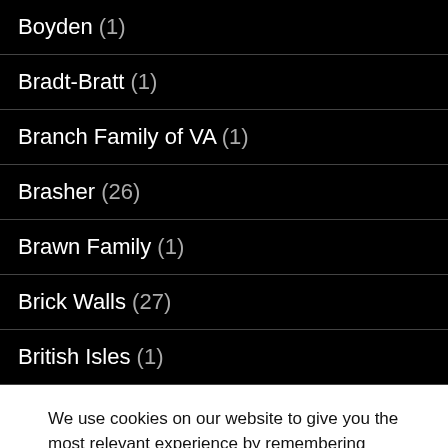Boyden (1)
Bradt-Bratt (1)
Branch Family of VA (1)
Brasher (26)
Brawn Family (1)
Brick Walls (27)
British Isles (1)
We use cookies on our website to give you the most relevant experience by remembering your preferences and repeat visits. By clicking “Accept”, you consent to the use of ALL the cookies.
Do not sell my personal information.
Cookie settings  ACCEPT